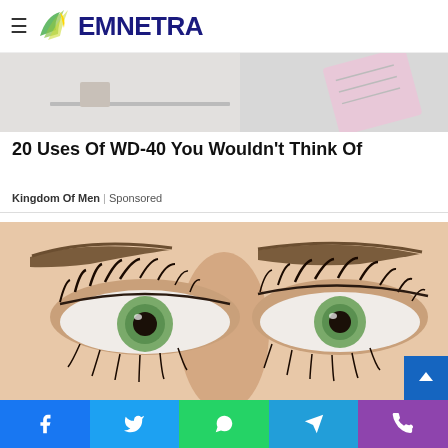EMNETRA (logo with navigation hamburger menu)
[Figure (photo): Partial view of desktop/office items including a calendar or planner with a pink/red item on a white background]
20 Uses Of WD-40 You Wouldn't Think Of
Kingdom Of Men | Sponsored
[Figure (photo): Close-up of a woman's face showing both eyes with mascara on lashes and green eyes with browns visible]
Social share bar with Facebook, Twitter, WhatsApp, Telegram, Phone buttons